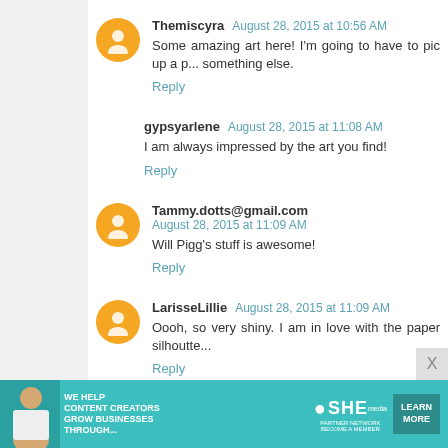Themiscyra  August 28, 2015 at 10:56 AM
Some amazing art here! I'm going to have to pic up a p... something else.
Reply
gypsyarlene  August 28, 2015 at 11:08 AM
I am always impressed by the art you find!
Reply
Tammy.dotts@gmail.com  August 28, 2015 at 11:09 AM
Will Pigg's stuff is awesome!
Reply
LarisseLillie  August 28, 2015 at 11:09 AM
Oooh, so very shiny. I am in love with the paper silhoutte...
Reply
[Figure (infographic): SHE Partner Network advertisement banner with teal background, woman with laptop, text 'We help content creators grow businesses through...', SHE logo, and 'Learn More' button]